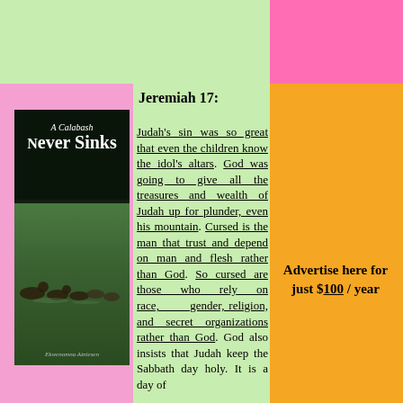Jeremiah 17:
Judah's sin was so great that even the children know the idol's altars. God was going to give all the treasures and wealth of Judah up for plunder, even his mountain. Cursed is the man that trust and depend on man and flesh rather than God. So cursed are those who rely on race, gender, religion, and secret organizations rather than God. God also insists that Judah keep the Sabbath day holy. It is a day of
[Figure (photo): Book cover of 'A Calabash Never Sinks' showing ducks swimming in water, dark background, white text, author Ekwenomna Atniesen]
Advertise here for just $100 / year